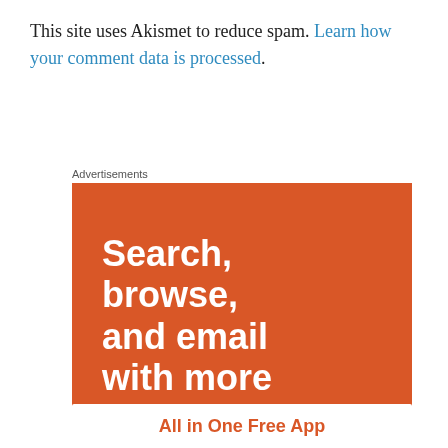This site uses Akismet to reduce spam. Learn how your comment data is processed.
Advertisements
[Figure (infographic): Orange advertisement banner reading 'Search, browse, and email with more privacy.' with 'All in One Free App' text at the bottom on a white strip.]